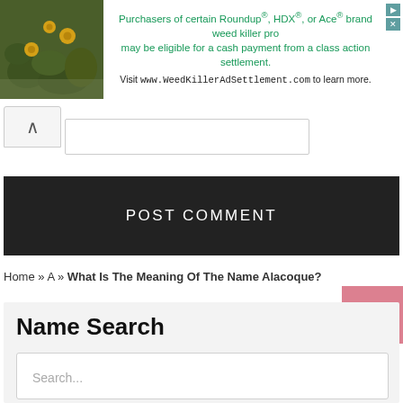[Figure (other): Advertisement banner: photo of yellow flowers and rocks on left, text about Roundup/HDX/Ace weed killer class action settlement on right]
Purchasers of certain Roundup®, HDX®, or Ace® brand weed killer products may be eligible for a cash payment from a class action settlement. Visit www.WeedKillerAdSettlement.com to learn more.
POST COMMENT
Home » A » What Is The Meaning Of The Name Alacoque?
Name Search
Search...